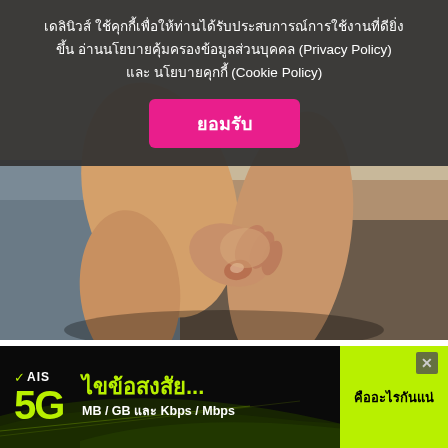เดลินิวส์ ใช้คุกกี้เพื่อให้ท่านได้รับประสบการณ์การใช้งานที่ดียิ่งขึ้น อ่านนโยบายคุ้มครองข้อมูลส่วนบุคคล (Privacy Policy) และ นโยบายคุกกี้ (Cookie Policy)
[Figure (other): Button labeled ยอมรับ (Accept) in pink/magenta color on dark overlay]
[Figure (photo): Person's legs and hand touching the calf area, wearing gray shorts, sitting on a surface]
Hepatitis C - Common Signs & Symptoms (Take a Look)
[Figure (other): AIS 5G advertisement banner with Thai text ไขข้อสงสัย... MB / GB และ Kbps / Mbps and คืออะไรกันแน่ on yellow-green background]